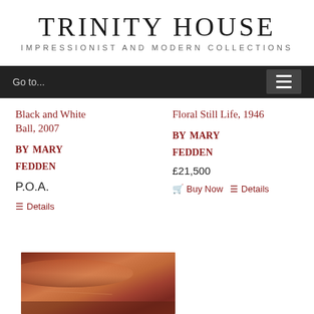TRINITY HOUSE
IMPRESSIONIST AND MODERN COLLECTIONS
Go to...
Black and White Ball, 2007 by Mary Fedden
P.O.A.
Details
Floral Still Life, 1946 by Mary Fedden
£21,500
Buy Now
Details
[Figure (photo): Partial view of a painting with warm reddish-brown tones, visible at the bottom of the page]